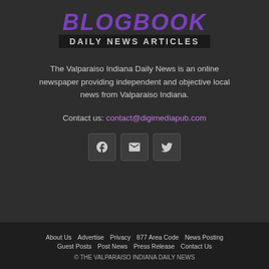[Figure (logo): BlogBook Daily News Articles logo with purple stylized text 'BLOGBOOK' and dark bar 'DAILY NEWS ARTICLES']
The Valparaiso Indiana Daily News is an online newspaper providing independent and objective local news from Valparaiso Indiana.
Contact us: contact@digimediapub.com
[Figure (other): Social media icon buttons: Facebook, Email, Twitter]
About Us  Advertise  Privacy  877 Area Code  News Posting  Guest Posts  Post News  Press Release  Contact Us  © THE VALPARAISO INDIANA DAILY NEWS